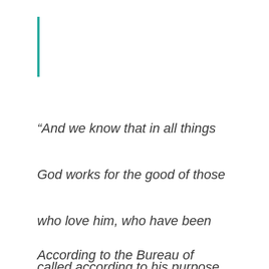[Figure (other): Vertical teal decorative bar on the left side of the page]
“And we know that in all things God works for the good of those who love him, who have been called according to his purpose (Romans 8:28 NIV).
According to the Bureau of